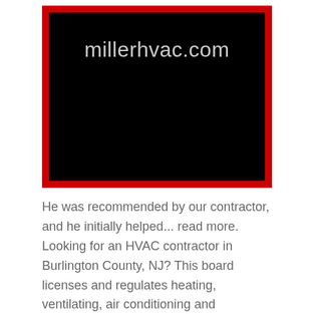[Figure (logo): Miller HVAC website logo: black background with red border, text 'millerhvac.com' in light gray]
He was recommended by our contractor, and he initially helped... read more. Looking for an HVAC contractor in Burlington County, NJ? This board licenses and regulates heating, ventilating, air conditioning and refrigeration contractors in New Jersey.